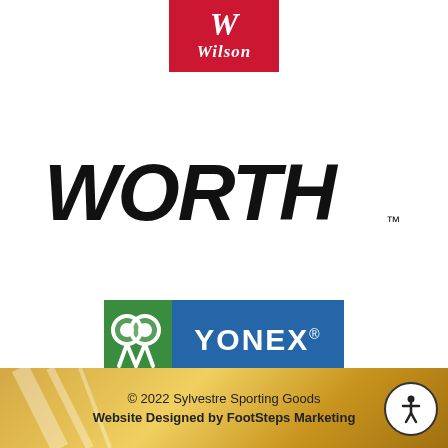[Figure (logo): Wilson brand logo — red rectangle with stylized white italic W on top and white italic Wilson text below]
[Figure (logo): Worth brand logo — large black italic stylized WORTH text with TM mark]
[Figure (logo): Yonex brand logo — rectangular logo with green left section containing YY symbol and blue right section with white YONEX text]
© 2022 Sylvestre Sporting Goods
Website Designed by FootSteps Marketing